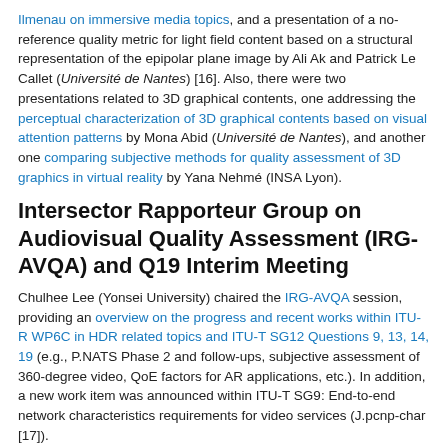Ilmenau on immersive media topics, and a presentation of a no-reference quality metric for light field content based on a structural representation of the epipolar plane image by Ali Ak and Patrick Le Callet (Université de Nantes) [16]. Also, there were two presentations related to 3D graphical contents, one addressing the perceptual characterization of 3D graphical contents based on visual attention patterns by Mona Abid (Université de Nantes), and another one comparing subjective methods for quality assessment of 3D graphics in virtual reality by Yana Nehmé (INSA Lyon).
Intersector Rapporteur Group on Audiovisual Quality Assessment (IRG-AVQA) and Q19 Interim Meeting
Chulhee Lee (Yonsei University) chaired the IRG-AVQA session, providing an overview on the progress and recent works within ITU-R WP6C in HDR related topics and ITU-T SG12 Questions 9, 13, 14, 19 (e.g., P.NATS Phase 2 and follow-ups, subjective assessment of 360-degree video, QoE factors for AR applications, etc.). In addition, a new work item was announced within ITU-T SG9: End-to-end network characteristics requirements for video services (J.pcnp-char [17]). From the discussions raised during this session, a new dedicated group was set up to work on introducing and provide guidelines on implementing objective video quality metrics, ahead of PSNR, to the video compression community. The group was named "Implementers Guide for Video Quality Metrics (IGVQM)" and will be chaired by Ioannis Katsavounidis (Facebook), accounting with the involvement of several people